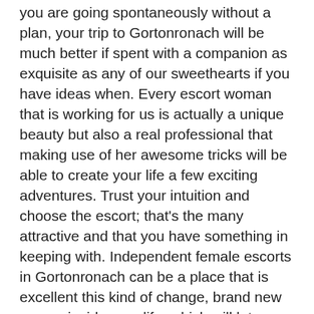you are going spontaneously without a plan, your trip to Gortonronach will be much better if spent with a companion as exquisite as any of our sweethearts if you have ideas when. Every escort woman that is working for us is actually a unique beauty but also a real professional that making use of her awesome tricks will be able to create your life a few exciting adventures. Trust your intuition and choose the escort; that's the many attractive and that you have something in keeping with. Independent female escorts in Gortonronach can be a place that is excellent this kind of change, brand new course inside your life, which will let you regain your childhood and power.
Sexy Female Escorts in Gortonronach Avalible Right Now to Book
Select a number of our Gortonronach escorts to